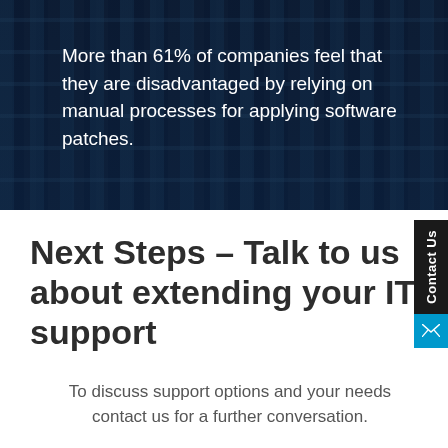[Figure (photo): Dark background image of server rack hardware with dark blue overlay tinting]
More than 61% of companies feel that they are disadvantaged by relying on manual processes for applying software patches.
Next Steps – Talk to us about extending your IT support
To discuss support options and your needs contact us for a further conversation.